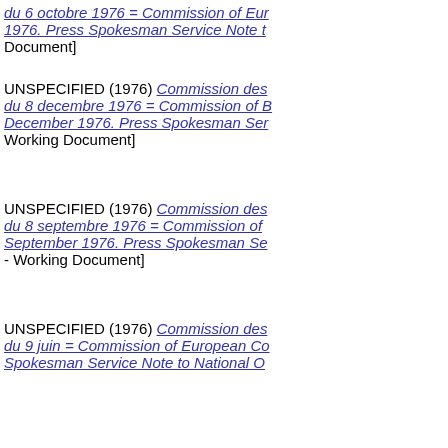UNSPECIFIED (1976) Commission des ... du 6 octobre 1976 = Commission of Eur... 1976. Press Spokesman Service Note t... Document]
UNSPECIFIED (1976) Commission des ... du 8 decembre 1976 = Commission of B... December 1976. Press Spokesman Ser... Working Document]
UNSPECIFIED (1976) Commission des ... du 8 septembre 1976 = Commission of ... September 1976. Press Spokesman Se... - Working Document]
UNSPECIFIED (1976) Commission des ... du 9 juin = Commission of European Co... Spokesman Service Note to National O...
UNSPECIFIED (1976) Commission fish... Commission - Press Notice]
UNSPECIFIED (1976) Commission me... July 1976. [EU Commission - Press Not...